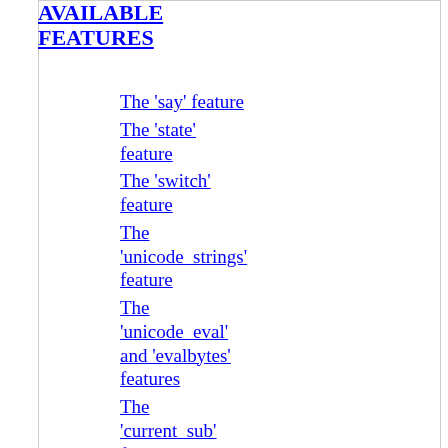AVAILABLE FEATURES
The 'say' feature
The 'state' feature
The 'switch' feature
The 'unicode_strings' feature
The 'unicode_eval' and 'evalbytes' features
The 'current_sub' feature
The 'array_base' feature
The 'fc' feature